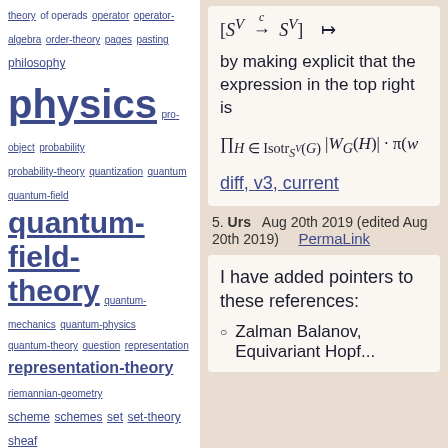theory of operads operator operator-algebra order-theory pages pasting philosophy physics pro-object probability probability-theory quantization quantum quantum-field quantum-field-theory quantum-mechanics quantum-physics quantum-theory question representation representation-theory riemannian-geometry scheme schemes set set-theory sheaf simplicial space spin-geometry stable-homotopy-theory string string-theory superalgebra supergeometry svg symplectic-geometry synthetic-differential-geometry terminology theory topology topos topos-theory type type-theory universal variational-calculus
Vanilla 1.1.10 is a product of Lussumo. More Information: Documentation, Community Support.
by making explicit that the expression in the top right is
diff, v3, current
5. Urs  Aug 20th 2019 (edited Aug 20th 2019)   PermaLink
I have added pointers to these references:
Zalman Balanov, Equivariant Hopf...